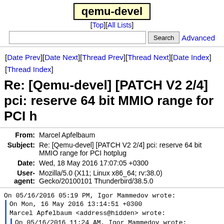qemu-devel
[Top][All Lists]
Search  Advanced
[Date Prev][Date Next][Thread Prev][Thread Next][Date Index][Thread Index]
Re: [Qemu-devel] [PATCH V2 2/4] pci: reserve 64 bit MMIO range for PCI h
| Field | Value |
| --- | --- |
| From | Marcel Apfelbaum |
| Subject | Re: [Qemu-devel] [PATCH V2 2/4] pci: reserve 64 bit MMIO range for PCI hotplug |
| Date | Wed, 18 May 2016 17:07:05 +0300 |
| User-agent | Mozilla/5.0 (X11; Linux x86_64; rv:38.0) Gecko/20100101 Thunderbird/38.5.0 |
On 05/16/2016 05:19 PM, Igor Mammedov wrote:
  On Mon, 16 May 2016 13:14:51 +0300
  Marcel Apfelbaum <address@hidden> wrote:

    On 05/16/2016 11:24 AM, Igor Mammedov wrote: